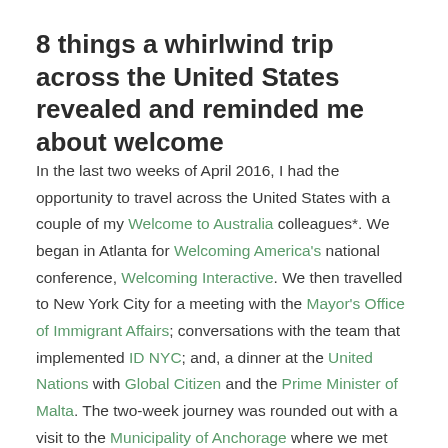8 things a whirlwind trip across the United States revealed and reminded me about welcome
In the last two weeks of April 2016, I had the opportunity to travel across the United States with a couple of my Welcome to Australia colleagues*. We began in Atlanta for Welcoming America's national conference, Welcoming Interactive. We then travelled to New York City for a meeting with the Mayor's Office of Immigrant Affairs; conversations with the team that implemented ID NYC; and, a dinner at the United Nations with Global Citizen and the Prime Minister of Malta. The two-week journey was rounded out with a visit to the Municipality of Anchorage where we met with numerous government